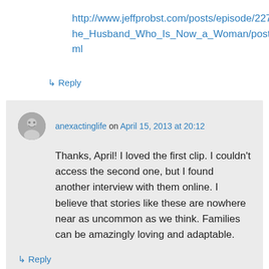http://www.jeffprobst.com/posts/episode/2275_The_Husband_Who_Is_Now_a_Woman/postair.html
↳ Reply
anexactinglife on April 15, 2013 at 20:12
Thanks, April! I loved the first clip. I couldn't access the second one, but I found another interview with them online. I believe that stories like these are nowhere near as uncommon as we think. Families can be amazingly loving and adaptable.
↳ Reply